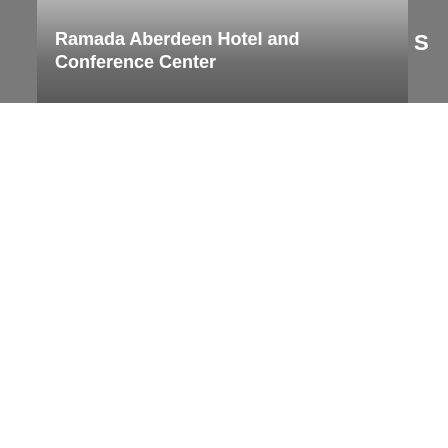[Figure (other): Partial view of a hotel/conference listing banner. Left and right grey strips flank a central gradient grey banner. The central banner contains the bold white text 'Ramada Aberdeen Hotel and Conference Center'. The right strip shows a partial letter 'S' in white.]